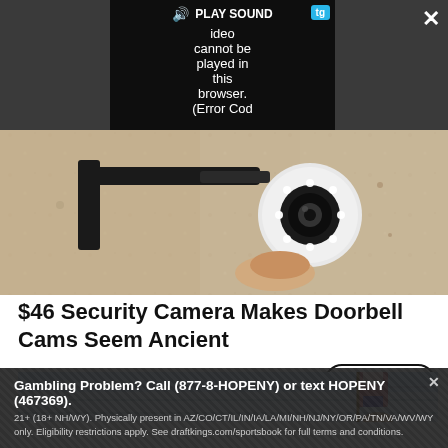[Figure (screenshot): Video player overlay showing 'PLAY SOUND' button and error message: 'Video cannot be played in this browser. (Error Cod' with dark background, tg badge, close button, and expand icon. Left side shows Dell XPS REV text area in blue.]
[Figure (photo): Security camera mounted on a wall, white circular camera with LED ring lights on a black bracket, installed on a textured sandy/concrete wall]
$46 Security Camera Makes Doorbell Cams Seem Ancient
HomeGuarder | Sponsored
Read More
[Figure (photo): Partial view of second advertisement image showing light blue siding with hands/flags visible]
Gambling Problem? Call (877-8-HOPENY) or text HOPENY (467369).
21+ (18+ NH/WY). Physically present in AZ/CO/CT/IL/IN/IA/LA/MI/NH/NJ/NY/OR/PA/TN/VA/WV/WY only. Eligibility restrictions apply. See draftkings.com/sportsbook for full terms and conditions.